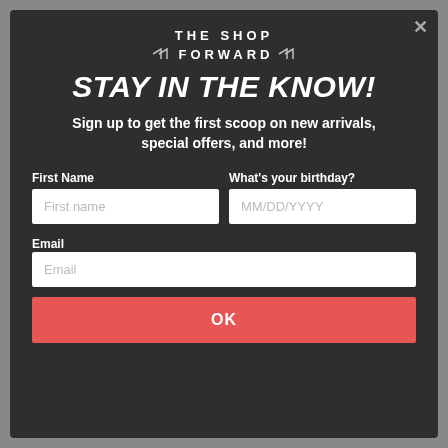THE SHOP FORWARD
STAY IN THE KNOW!
Sign up to get the first scoop on new arrivals, special offers, and more!
First Name | What's your birthday? | Email | OK